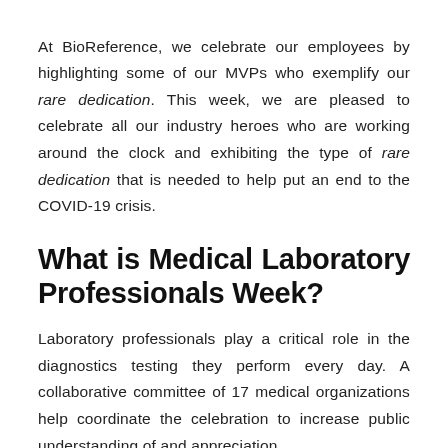At BioReference, we celebrate our employees by highlighting some of our MVPs who exemplify our rare dedication. This week, we are pleased to celebrate all our industry heroes who are working around the clock and exhibiting the type of rare dedication that is needed to help put an end to the COVID-19 crisis.
What is Medical Laboratory Professionals Week?
Laboratory professionals play a critical role in the diagnostics testing they perform every day. A collaborative committee of 17 medical organizations help coordinate the celebration to increase public understanding of and appreciation